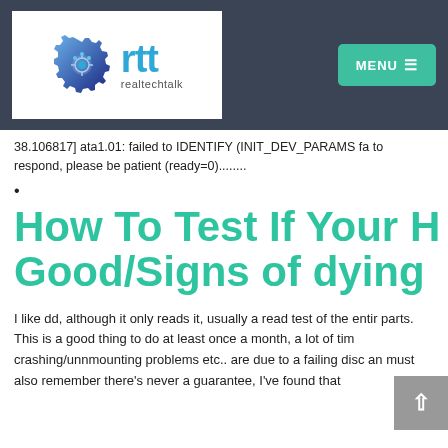[Figure (logo): realtechtalk (rtt) website logo with gear icon and site name]
38.106817] ata1.01: failed to IDENTIFY (INIT_DEV_PARAMS fa to respond, please be patient (ready=0)........
•
How To Test If Your H Good/Signs of dying
I like dd, although it only reads it, usually a read test of the entir parts. This is a good thing to do at least once a month, a lot of tim crashing/unnmounting problems etc.. are due to a failing disc an must also remember there's never a guarantee, I've found that